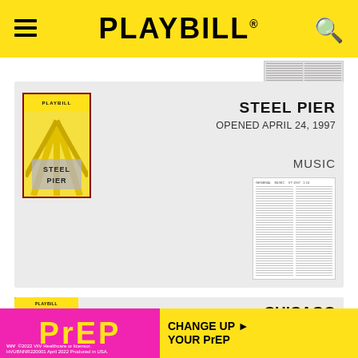PLAYBILL
[Figure (screenshot): Small grayscale document thumbnail, upper right area below header]
[Figure (screenshot): Steel Pier Playbill cover thumbnail on left side of card]
STEEL PIER
OPENED APRIL 24, 1997
MUSIC
[Figure (screenshot): Two-column text document thumbnail, lower right of Steel Pier card]
[Figure (screenshot): Chicago Playbill cover thumbnail on left side of second card]
CHICAGO
1996
MUSIC
[Figure (infographic): PrEP advertisement banner at bottom: pink background with yellow PrEP logo and 'CHANGE UP YOUR PrEP' call to action on yellow background]